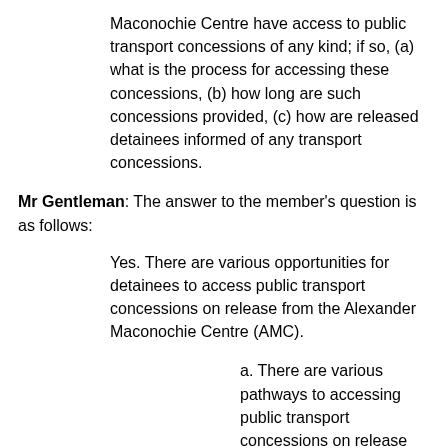Maconochie Centre have access to public transport concessions of any kind; if so, (a) what is the process for accessing these concessions, (b) how long are such concessions provided, (c) how are released detainees informed of any transport concessions.
Mr Gentleman: The answer to the member's question is as follows:
Yes. There are various opportunities for detainees to access public transport concessions on release from the Alexander Maconochie Centre (AMC).
a. There are various pathways to accessing public transport concessions on release from the AMC. ACT Corrective Services (ACTCS) staff advise detainees as to the most appropriate pathway to accessing public